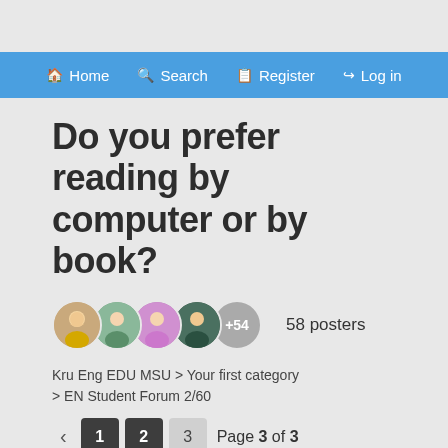Home  Search  Register  Log in
Do you prefer reading by computer or by book?
58 posters
Kru Eng EDU MSU > Your first category > EN Student Forum 2/60
< 1 2 3  Page 3 of 3
Re: Do you ...
Wed Apr 18, 2018 6:38